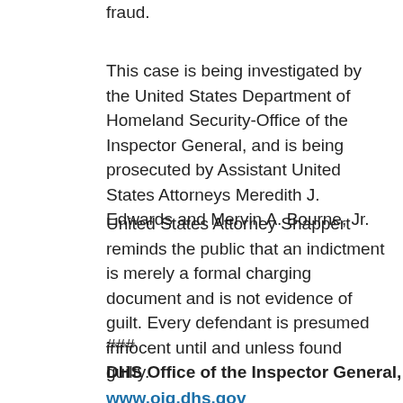fraud.
This case is being investigated by the United States Department of Homeland Security-Office of the Inspector General, and is being prosecuted by Assistant United States Attorneys Meredith J. Edwards and Mervin A. Bourne, Jr.
United States Attorney Shappert reminds the public that an indictment is merely a formal charging document and is not evidence of guilt. Every defendant is presumed innocent until and unless found guilty.
###
DHS Office of the Inspector General, www.oig.dhs.gov